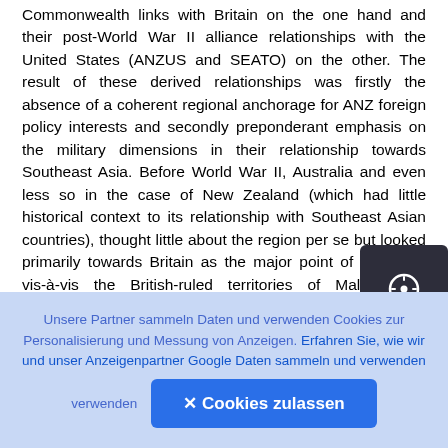Commonwealth links with Britain on the one hand and their post-World War II alliance relationships with the United States (ANZUS and SEATO) on the other. The result of these derived relationships was firstly the absence of a coherent regional anchorage for ANZ foreign policy interests and secondly preponderant emphasis on the military dimensions in their relationship towards Southeast Asia. Before World War II, Australia and even less so in the case of New Zealand (which had little historical context to its relationship with Southeast Asian countries), thought little about the region per se but looked primarily towards Britain as the major point of reference vis-à-vis the British-ruled territories of Malaya and Singapore as a
[Figure (other): Navigation button - dark rounded square with a circular arrow/compass icon in white]
Unsere Partner sammeln Daten und verwenden Cookies zur Personalisierung und Messung von Anzeigen. Erfahren Sie, wie wir und unser Anzeigenpartner Google Daten sammeln und verwenden
✕ Cookies zulassen